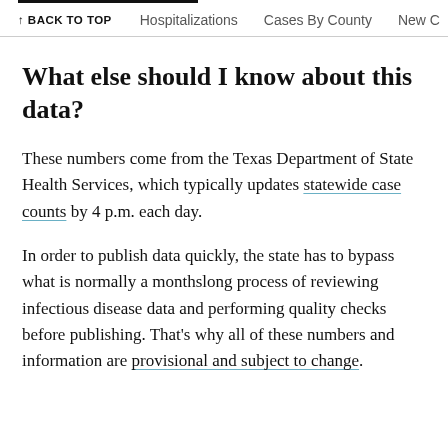↑ BACK TO TOP    Hospitalizations    Cases By County    New C
What else should I know about this data?
These numbers come from the Texas Department of State Health Services, which typically updates statewide case counts by 4 p.m. each day.
In order to publish data quickly, the state has to bypass what is normally a monthslong process of reviewing infectious disease data and performing quality checks before publishing. That's why all of these numbers and information are provisional and subject to change.